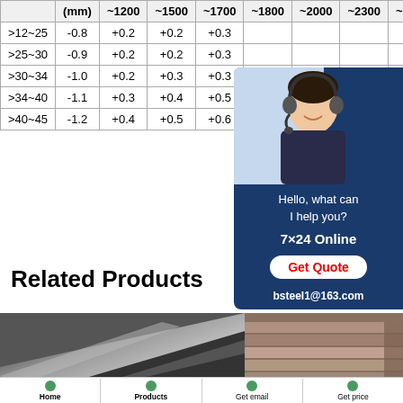|  | (mm) | ~1200 | ~1500 | ~1700 | ~1800 | ~2000 | ~2300 | ~25... |
| --- | --- | --- | --- | --- | --- | --- | --- | --- |
| >12~25 | -0.8 | +0.2 | +0.2 | +0.3 |  |  |  |  |
| >25~30 | -0.9 | +0.2 | +0.2 | +0.3 |  |  |  |  |
| >30~34 | -1.0 | +0.2 | +0.3 | +0.3 |  |  |  |  |
| >34~40 | -1.1 | +0.3 | +0.4 | +0.5 |  |  |  | 1. |
| >40~45 | -1.2 | +0.4 | +0.5 | +0.6 |  |  |  | 1. |
Related Products
[Figure (photo): Steel plate product photo]
[Figure (photo): Stacked steel plates photo]
[Figure (infographic): Chat popup with customer service agent, 7x24 Online, Get Quote button, bsteel1@163.com]
Home | Products | Get email | Get price